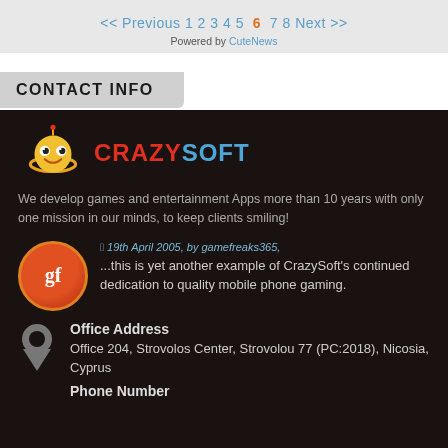<< Previous 1 2 3 4 5 6 7 8 Next >>
Powered by CuteNews
CONTACT INFO
[Figure (logo): CrazySoft logo with cartoon mascot character and company name]
We develop games and entertainment Apps more than 10 years with only one mission in our minds, to keep clients smiling!
19th April 2005, by gamefreaks365.
...this is yet another example of CrazySoft's continued dedication to quality mobile phone gaming.
Office Address
Office 204, Strovolos Center, Strovolou 77 (PC:2018), Nicosia, Cyprus
Phone Number